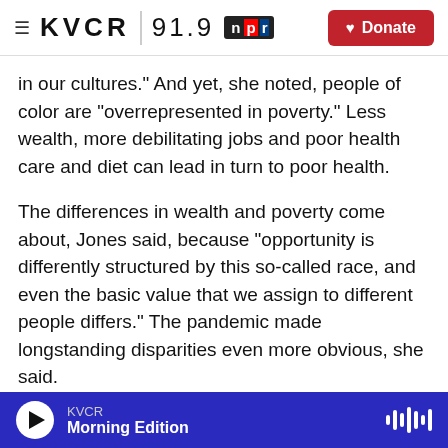KVCR 91.9 NPR Donate
in our cultures." And yet, she noted, people of color are "overrepresented in poverty." Less wealth, more debilitating jobs and poor health care and diet can lead in turn to poor health.
The differences in wealth and poverty come about, Jones said, because "opportunity is differently structured by this so-called race, and even the basic value that we assign to different people differs." The pandemic made longstanding disparities even more obvious, she said.
So what to do about public health disparities?
KVCR Morning Edition